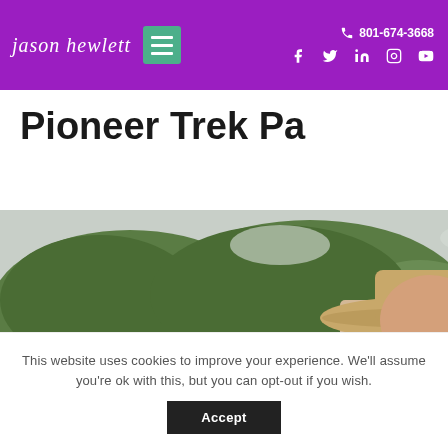jason hewlett | 801-674-3668
Pioneer Trek Pa
[Figure (photo): Man wearing a wide-brimmed straw hat and sunglasses, smiling, with green hills and overcast sky in background. Another straw hat visible in the foreground.]
This website uses cookies to improve your experience. We'll assume you're ok with this, but you can opt-out if you wish.
Accept